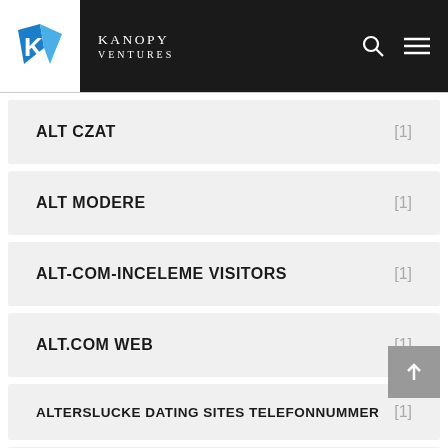KANOPY VENTURES
ALT CZAT [1]
ALT MODERE [1]
ALT-COM-INCELEME VISITORS [1]
ALT.COM WEB [1]
ALTERSLUCKE DATING SITES TELEFONNUMMER [1]
ALUA VISITORS [1]